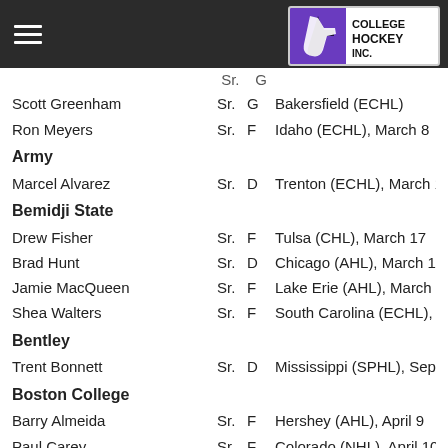College Hockey Inc. navigation header
[partial row - truncated name] Sr. G [truncated team info]
Scott Greenham  Sr.  G  Bakersfield (ECHL)
Ron Meyers  Sr.  F  Idaho (ECHL), March 8
Army
Marcel Alvarez  Sr.  D  Trenton (ECHL), March 14
Bemidji State
Drew Fisher  Sr.  F  Tulsa (CHL), March 17
Brad Hunt  Sr.  D  Chicago (AHL), March 14
Jamie MacQueen  Sr.  F  Lake Erie (AHL), March 16
Shea Walters  Sr.  F  South Carolina (ECHL), March 1[truncated]
Bentley
Trent Bonnett  Sr.  D  Mississippi (SPHL), Sept. 27
Boston College
Barry Almeida  Sr.  F  Hershey (AHL), April 9
Paul Carey  Sr.  F  Colorado (NHL), April 10
Tommy Cross  Sr.  D  Boston (NHL), April 10
Brian Dumoulin  Jr.  D  Carolina (NHL), April 10